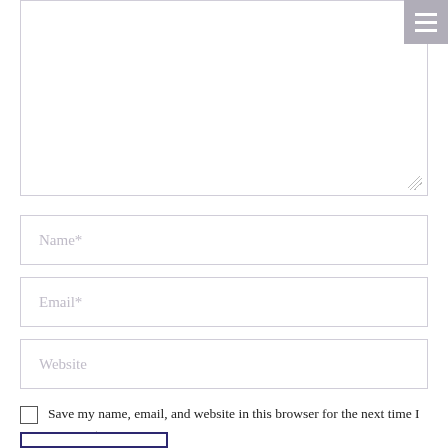[Figure (screenshot): Comment form with textarea, Name, Email, Website input fields, a checkbox for saving browser info, and a partially visible submit button. A hamburger menu icon appears in the top-right corner.]
Name*
Email*
Website
Save my name, email, and website in this browser for the next time I comment.